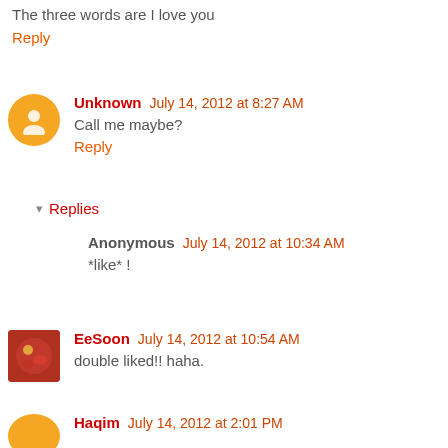The three words are I love you
Reply
Unknown  July 14, 2012 at 8:27 AM
Call me maybe?
Reply
Replies
Anonymous  July 14, 2012 at 10:34 AM
*like* !
EeSoon  July 14, 2012 at 10:54 AM
double liked!! haha.
Haqim  July 14, 2012 at 2:01 PM